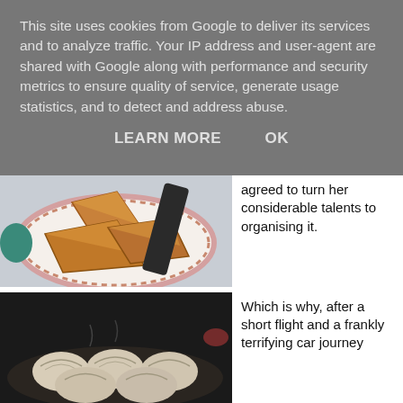This site uses cookies from Google to deliver its services and to analyze traffic. Your IP address and user-agent are shared with Google along with performance and security metrics to ensure quality of service, generate usage statistics, and to detect and address abuse.
LEARN MORE    OK
[Figure (photo): Photo of samosas on a decorative white plate with floral border, with a dark spatula/turner visible in the background]
agreed to turn her considerable talents to organising it.
[Figure (photo): Photo of momos (steamed dumplings) on a dark plate, photographed in low light]
Which is why, after a short flight and a frankly terrifying car journey